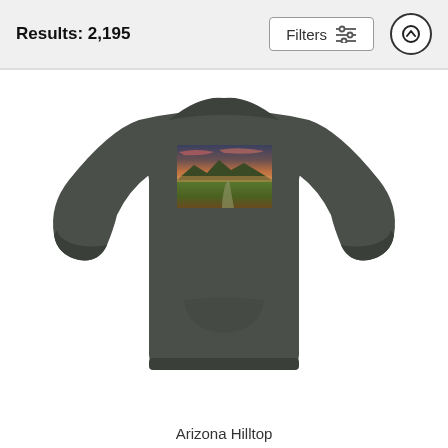Results: 2,195
[Figure (screenshot): Filters button with sliders icon and up-arrow circle button in a light grey header bar]
[Figure (photo): Dark olive/charcoal crewneck sweatshirt with an Arizona landscape panorama print on the chest area showing green fields, mountains and a dramatic colorful sunset sky]
Arizona Hilltop